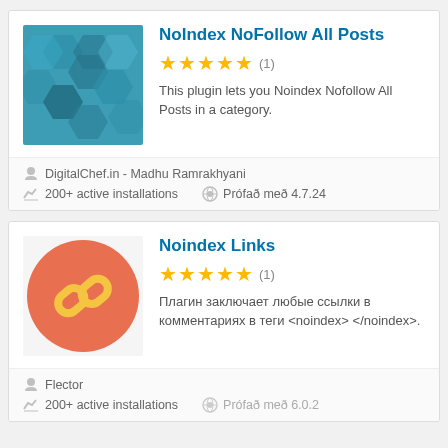NoIndex NoFollow All Posts
★★★★★ (1)
This plugin lets you Noindex Nofollow All Posts in a category.
DigitalChef.in - Madhu Ramrakhyani
200+ active installations    Prófað með 4.7.24
Noindex Links
★★★★★ (1)
Плагин заключает любые ссылки в комментариях в теги <noindex> </noindex>.
Flector
200+ active installations    Prófað með 6.0.2